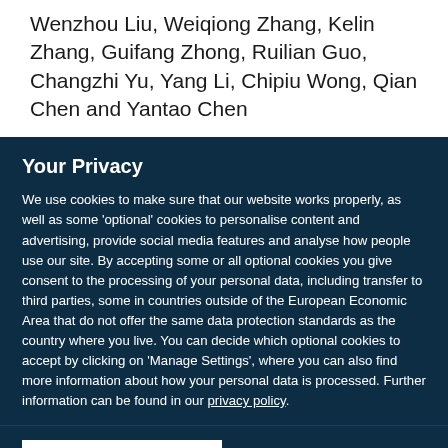Wenzhou Liu, Weiqiong Zhang, Kelin Zhang, Guifang Zhong, Ruilian Guo, Changzhi Yu, Yang Li, Chipiu Wong, Qian Chen and Yantao Chen
Your Privacy
We use cookies to make sure that our website works properly, as well as some 'optional' cookies to personalise content and advertising, provide social media features and analyse how people use our site. By accepting some or all optional cookies you give consent to the processing of your personal data, including transfer to third parties, some in countries outside of the European Economic Area that do not offer the same data protection standards as the country where you live. You can decide which optional cookies to accept by clicking on 'Manage Settings', where you can also find more information about how your personal data is processed. Further information can be found in our privacy policy.
Accept all cookies
Manage preferences